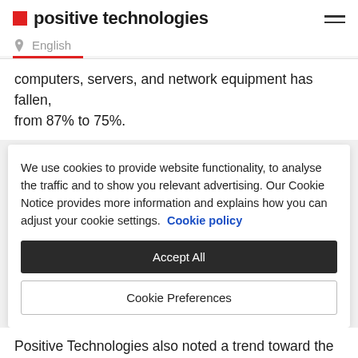positive technologies
English
computers, servers, and network equipment has fallen, from 87% to 75%.
We use cookies to provide website functionality, to analyse the traffic and to show you relevant advertising. Our Cookie Notice provides more information and explains how you can adjust your cookie settings. Cookie policy
Accept All
Cookie Preferences
Positive Technologies also noted a trend toward the